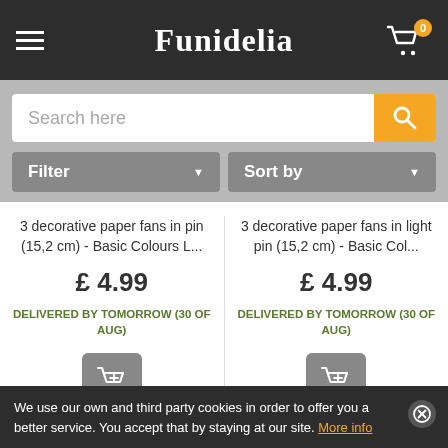Funidelia
Search here
Filter
Sort by
3 decorative paper fans in pin (15,2 cm) - Basic Colours L...
£ 4.99
DELIVERED BY TOMORROW (30 OF AUG)
3 decorative paper fans in light pin (15,2 cm) - Basic Col...
£ 4.99
DELIVERED BY TOMORROW (30 OF AUG)
We use our own and third party cookies in order to offer you a better service. You accept that by staying at our site. More info